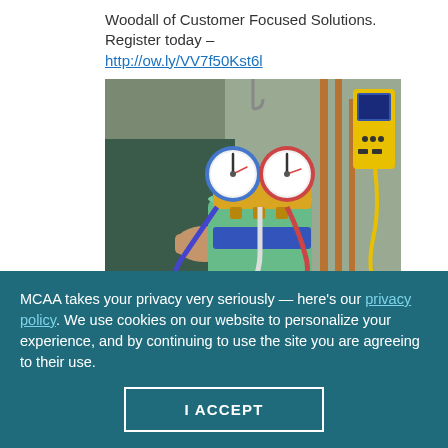Woodall of Customer Focused Solutions. Register today – http://ow.ly/VV7f50Kst6l
[Figure (photo): HVAC technician holding refrigerant manifold gauge set connected to a refrigerant cylinder, with a yellow digital multimeter in the background near copper pipes]
MCAA takes your privacy very seriously — here's our privacy policy. We use cookies on our website to personalize your experience, and by continuing to use the site you are agreeing to their use.
I ACCEPT